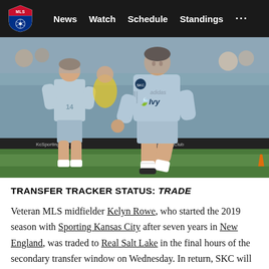MLS | News  Watch  Schedule  Standings  ...
[Figure (photo): Two Sporting Kansas City players in light blue/gray jerseys on a soccer field during a match, one with Ivy sponsor logo prominently visible on jersey.]
TRANSFER TRACKER STATUS: Trade
Veteran MLS midfielder Kelyn Rowe, who started the 2019 season with Sporting Kansas City after seven years in New England, was traded to Real Salt Lake in the final hours of the secondary transfer window on Wednesday. In return, SKC will receive an